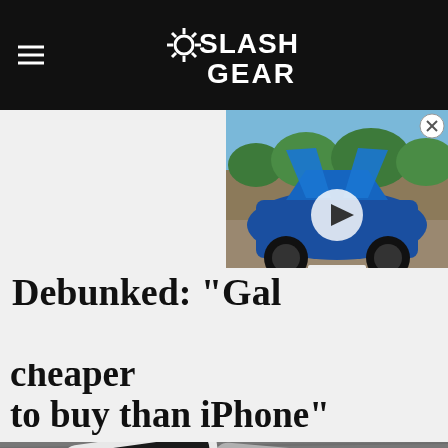SlashGear
[Figure (photo): Blue McLaren sports car with scissor doors open, video thumbnail with play button overlay]
Debunked: "Galaxy S6 more costly to make, cheaper to buy than iPhone"
[Figure (photo): Two smartphones (Samsung Galaxy and iPhone) lying side by side on a wooden surface, viewed from above at an angle]